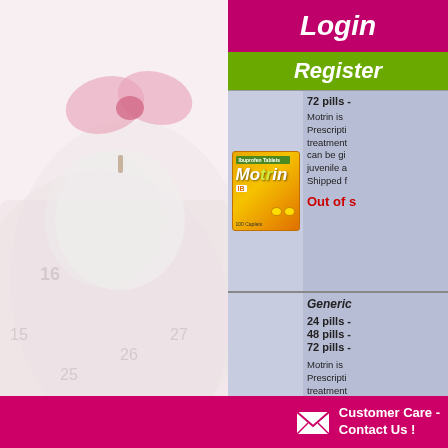Login
Register
[Figure (photo): Background image of apple with measuring tape on light pink background]
[Figure (photo): Motrin IB product box - orange and yellow packaging]
72 pills -
Motrin is Prescription treatment can be given juvenile a Shipped f
Out of s
Generic
24 pills -
48 pills -
72 pills -
Motrin is Prescripti treatment can be gi juvenile a Shipped f
Customer Care - Contact Us !